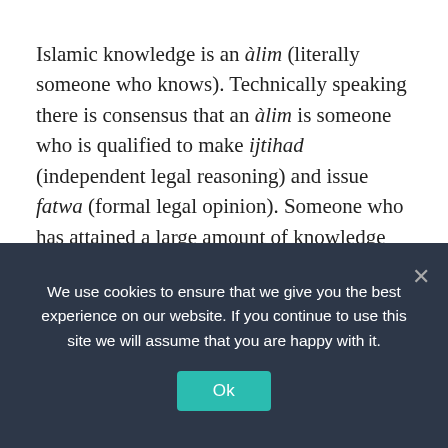Islamic knowledge is an àlim (literally someone who knows). Technically speaking there is consensus that an àlim is someone who is qualified to make ijtihad (independent legal reasoning) and issue fatwa (formal legal opinion). Someone who has attained a large amount of knowledge but has not reached this level may also be called an àlim, but there is no consensus on this.
2016-07-29  Clarifications, Knowledge
[Figure (photo): Partial view of an indoor room with warm beige/tan walls and decorative wall sconces, bottom portion showing dark navy background of cookie consent banner]
We use cookies to ensure that we give you the best experience on our website. If you continue to use this site we will assume that you are happy with it.